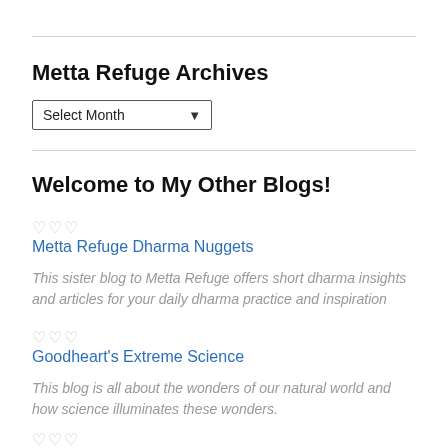Metta Refuge Archives
Select Month
Welcome to My Other Blogs!
♡♡♡
Metta Refuge Dharma Nuggets
This sister blog to Metta Refuge offers short dharma insights and articles for your daily dharma practice and inspiration
♡♡♡
Goodheart's Extreme Science
This blog is all about the wonders of our natural world and how science illuminates these wonders.
♡♡♡